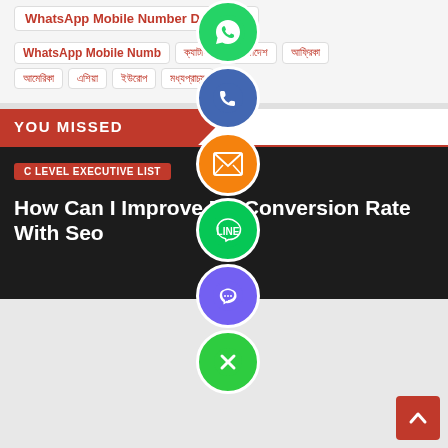WhatsApp Mobile Number Database
WhatsApp Mobile Number | ক্যাটাগরি | বাংলাদেশ | আফ্রিকা | আমেরিকা | এশিয়া | ইউরোপ | মধ্যপ্রাচ্য
[Figure (infographic): Floating social media icons column: WhatsApp (green), phone (blue), email/envelope (orange), LINE (green), Viber (purple), close/X (green)]
YOU MISSED
C LEVEL EXECUTIVE LIST
How Can I Improve My Conversion Rate With Seo